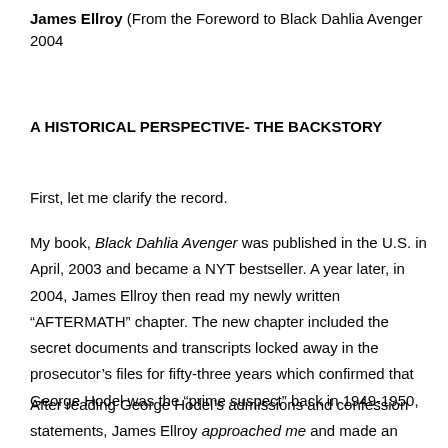James Ellroy (From the Foreword to Black Dahlia Avenger 2004
A HISTORICAL PERSPECTIVE- THE BACKSTORY
First, let me clarify the record.
My book, Black Dahlia Avenger was published in the U.S. in April, 2003 and became a NYT bestseller. A year later, in 2004, James Ellroy then read my newly written “AFTERMATH” chapter. The new chapter included the secret documents and transcripts locked away in the prosecutor’s files for fifty-three years which confirmed that George Hodel was the “prime suspect” back in 1949-1950,
After reading George Hodel's admissions and confession statements, James Ellroy approached me and made an unsolicited